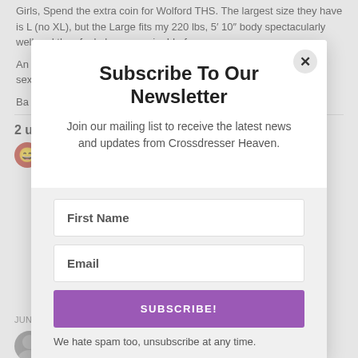Girls, Spend the extra coin for Wolford THS. The largest size they have is L (no XL), but the Large fits my 220 lbs, 5′ 10″ body spectacularly well and they feel oh so amazing! In fac
And sex
Ba
2 u
Subscribe To Our Newsletter
Join our mailing list to receive the latest news and updates from Crossdresser Heaven.
First Name
Email
SUBSCRIBE!
We hate spam too, unsubscribe at any time.
JUNE
5,